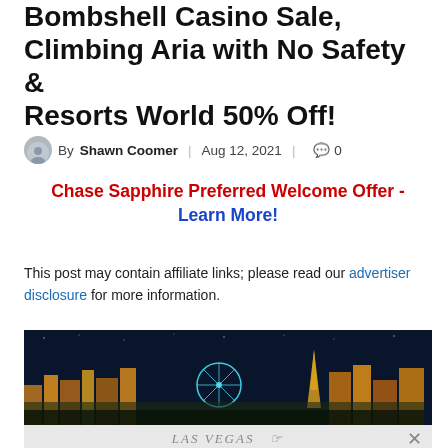Bombshell Casino Sale, Climbing Aria with No Safety & Resorts World 50% Off!
By Shawn Coomer | Aug 12, 2021 | 0
Chase Sapphire Preferred Welcome Offer - Learn More!
This post may contain affiliate links; please read our advertiser disclosure for more information.
[Figure (photo): Night skyline photo of Las Vegas strip with illuminated buildings and a Ferris wheel, with an advertisement overlay at the bottom showing 'LAS VEGAS' text and a close (×) button.]